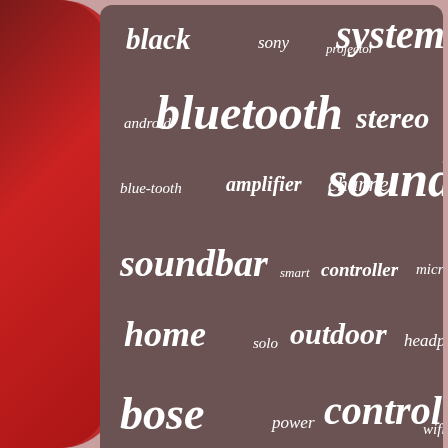[Figure (infographic): Word cloud on a dark brown/reddish rounded rectangle panel showing audio/speaker related terms in varying sizes: black, sony, projector, system, bluetooth, stereo, android, blue-tooth, amplifier, channel, sound, soundbar, smart, controller, microphone, home, solo, outdoor, headphones, bose, power, control, wifi. Background includes red speaker graphic on left.]
Index
Contact Form
Privacy Policy Agreement
Terms of service
EN  FR